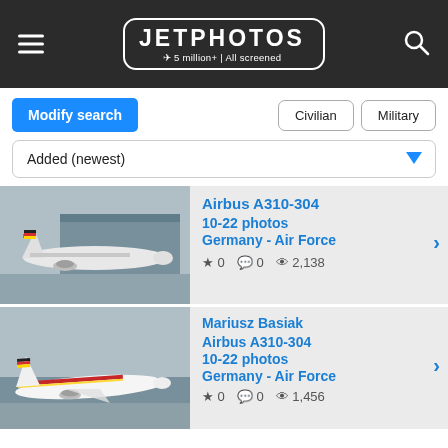JETPHOTOS — 5 million+ | All screened
Modify search | Civilian | Military
Added (newest)
[Figure (photo): Airbus A310-304 aircraft of Germany Air Force parked on tarmac]
Airbus A310-304
10-22 photos
Germany - Air Force
★ 0  💬 0  👁 2,138
[Figure (photo): Mariusz Basiak - Airbus A310-304 Germany Air Force taking off]
Mariusz Basiak
Airbus A310-304
10-22 photos
Germany - Air Force
★ 0  💬 0  👁 1,456